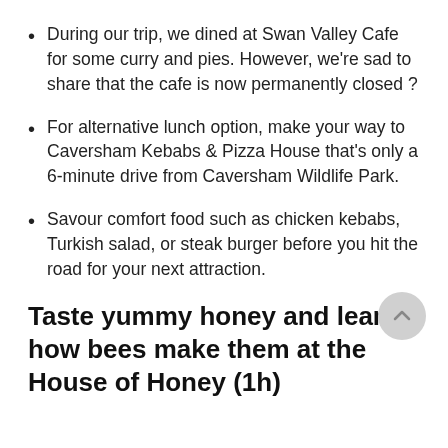During our trip, we dined at Swan Valley Cafe for some curry and pies. However, we're sad to share that the cafe is now permanently closed ?
For alternative lunch option, make your way to Caversham Kebabs & Pizza House that's only a 6-minute drive from Caversham Wildlife Park.
Savour comfort food such as chicken kebabs, Turkish salad, or steak burger before you hit the road for your next attraction.
Taste yummy honey and learn how bees make them at the House of Honey (1h)